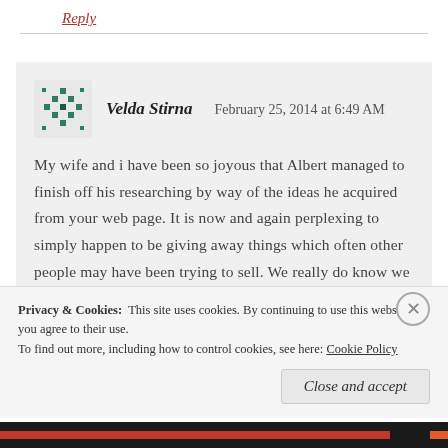Reply
Velda Stirna   February 25, 2014 at 6:49 AM
My wife and i have been so joyous that Albert managed to finish off his researching by way of the ideas he acquired from your web page. It is now and again perplexing to simply happen to be giving away things which often other people may have been trying to sell. We really do know we have got the website owner to give thanks to for that. The specific illustrations you have made, the easy web site
Privacy & Cookies:  This site uses cookies. By continuing to use this website, you agree to their use.
To find out more, including how to control cookies, see here: Cookie Policy
Close and accept